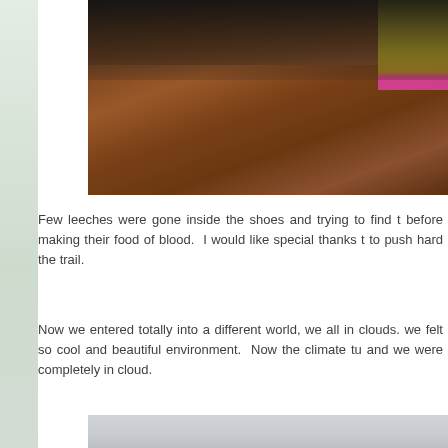[Figure (photo): People sitting on muddy/dirt ground, one person wearing a yellow jacket on the right side, photographed from above.]
Few leeches were gone inside the shoes and trying to find the way before making their food of blood.  I would like special thanks to push hard the trail.
Now we entered totally into a different world, we all in clouds.  we felt so cool and beautiful environment.  Now the climate turned and we were completely in cloud.
[Figure (photo): Bottom portion of a photo showing a grey/cloudy sky or misty environment, partially cropped.]